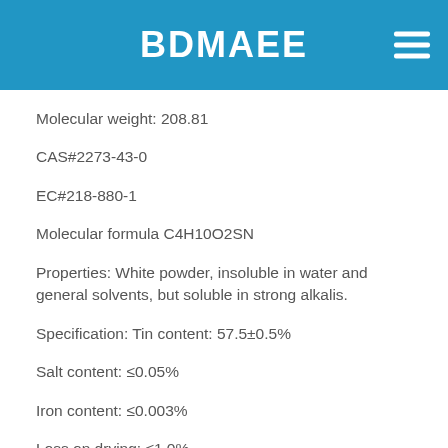BDMAEE
Molecular weight: 208.81
CAS#2273-43-0
EC#218-880-1
Molecular formula C4H10O2SN
Properties: White powder, insoluble in water and general solvents, but soluble in strong alkalis.
Specification: Tin content: 57.5±0.5%
Salt content: ≤0.05%
Iron content: ≤0.003%
Loss on drying: ≤1.0%